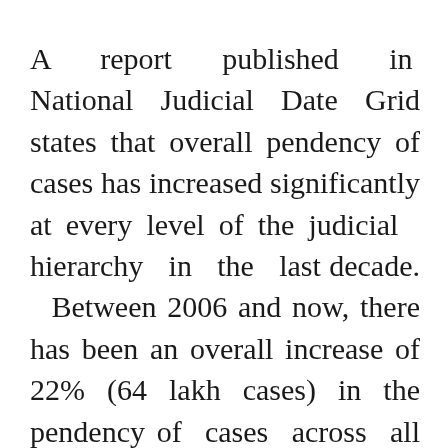A report published in National Judicial Date Grid states that overall pendency of cases has increased significantly at every level of the judicial hierarchy in the last decade. Between 2006 and now, there has been an overall increase of 22% (64 lakh cases) in the pendency of cases across all courts. As of August 2019, there are over 3.5 cr cases pending across the Supreme